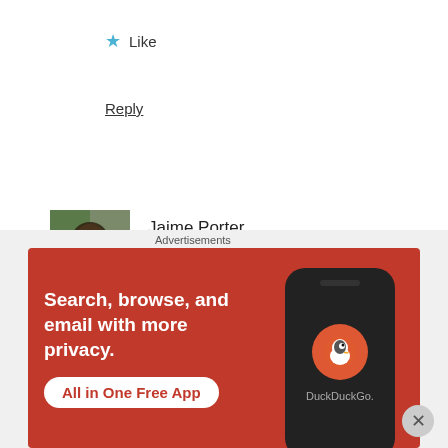★ Like
Reply
Jaime Porter
October 25, 2017 at 11:03 pm
As a fairly new blogger, these tips are perfect for me!
[Figure (screenshot): DuckDuckGo advertisement banner with orange/red background. Text: 'Search, browse, and email with more privacy. All in One Free App' with a phone image showing DuckDuckGo logo.]